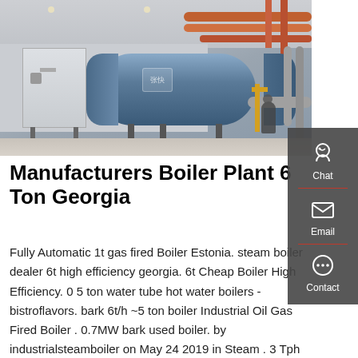[Figure (photo): Industrial gas-fired boiler plant in a factory setting, showing a large cylindrical blue boiler unit, a white control box, and overhead pipes in an industrial facility.]
Manufacturers Boiler Plant 6 Ton Georgia
Fully Automatic 1t gas fired Boiler Estonia. steam boiler dealer 6t high efficiency georgia. 6t Cheap Boiler High Efficiency. 0 5 ton water tube hot water boilers - bistroflavors. bark 6t/h ~5 ton boiler Industrial Oil Gas Fired Boiler . 0.7MW bark used boiler. by industrialsteamboiler on May 24 2019 in Steam . 3 Tph Biogas Fired tandartsendb.be. 0 5